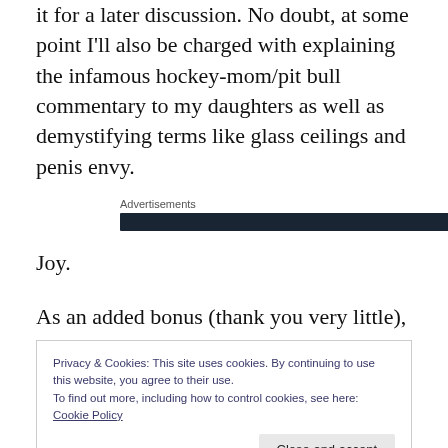it for a later discussion. No doubt, at some point I'll also be charged with explaining the infamous hockey-mom/pit bull commentary to my daughters as well as demystifying terms like glass ceilings and penis envy.
Advertisements
Joy.
As an added bonus (thank you very little), all this newsy-
Privacy & Cookies: This site uses cookies. By continuing to use this website, you agree to their use.
To find out more, including how to control cookies, see here: Cookie Policy
Close and accept